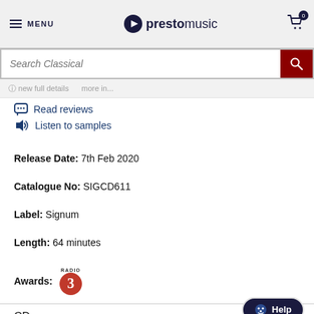MENU | prestomusic | Cart 0
[Figure (screenshot): Search bar with 'Search Classical' placeholder and dark red search button with magnifying glass icon]
Read reviews
Listen to samples
Release Date: 7th Feb 2020
Catalogue No: SIGCD611
Label: Signum
Length: 64 minutes
Awards: Radio 3
CD   £4.75
In stock
Usually despatched within 1 working day